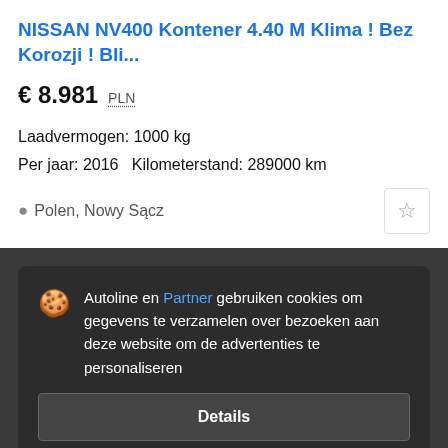NISSAN NV400 Kontener 4.40 M Klima ! Bez Korozji ! Bli...
€ 8.981  PLN
Laadvermogen: 1000 kg
Per jaar: 2016   Kilometerstand: 289000 km
Polen, Nowy Sącz
Autoline en Partner gebruiken cookies om gegevens te verzamelen over bezoeken aan deze website om de advertenties te personaliseren
Details
Accepteren en sluiten
Nie...
€ 6...
Laadvermogen: 3500 kg